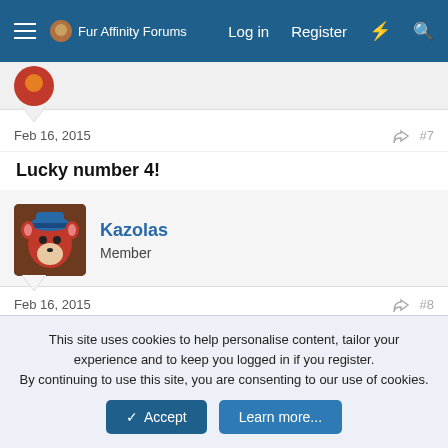Fur Affinity Forums — Log in | Register
Feb 16, 2015  #7
Lucky number 4!
Kazolas
Member
Feb 16, 2015  #8
I'm male
3 Girlfriends
0 Boyfriends
This site uses cookies to help personalise content, tailor your experience and to keep you logged in if you register.
By continuing to use this site, you are consenting to our use of cookies.